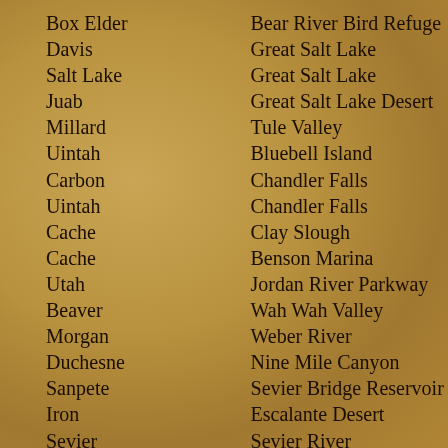Box Elder
Bear River Bird Refuge
Davis
Great Salt Lake
Salt Lake
Great Salt Lake
Juab
Great Salt Lake Desert
Millard
Tule Valley
Uintah
Bluebell Island
Carbon
Chandler Falls
Uintah
Chandler Falls
Cache
Clay Slough
Cache
Benson Marina
Utah
Jordan River Parkway
Beaver
Wah Wah Valley
Morgan
Weber River
Duchesne
Nine Mile Canyon
Sanpete
Sevier Bridge Reservoir
Iron
Escalante Desert
Sevier
Sevier River
Wasatch
Provo River
Summit
Weber River
Daggett
Brown's Park